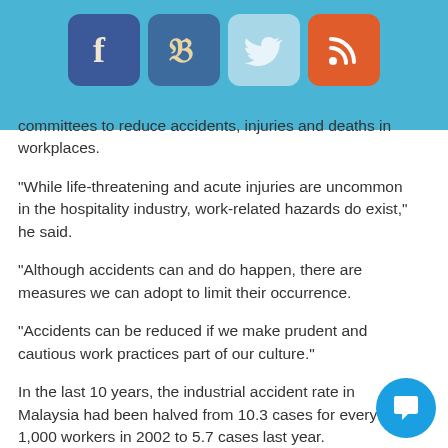[Figure (other): Social media icon bar with Facebook, Vimeo, Twitter, and RSS icons on a light blue background]
committees to reduce accidents, injuries and deaths in workplaces.
"While life-threatening and acute injuries are uncommon in the hospitality industry, work-related hazards do exist," he said.
"Although accidents can and do happen, there are measures we can adopt to limit their occurrence.
"Accidents can be reduced if we make prudent and cautious work practices part of our culture."
In the last 10 years, the industrial accident rate in Malaysia had been halved from 10.3 cases for every 1,000 workers in 2002 to 5.7 cases last year.